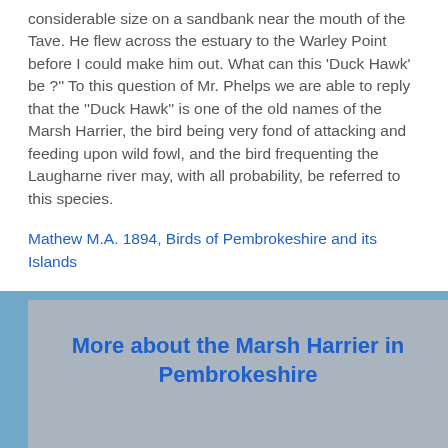considerable size on a sandbank near the mouth of the Tave. He flew across the estuary to the Warley Point before I could make him out. What can this 'Duck Hawk' be ?" To this question of Mr. Phelps we are able to reply that the "Duck Hawk" is one of the old names of the Marsh Harrier, the bird being very fond of attacking and feeding upon wild fowl, and the bird frequenting the Laugharne river may, with all probability, be referred to this species.
Mathew M.A. 1894, Birds of Pembrokeshire and its Islands
More about the Marsh Harrier in Pembrokeshire